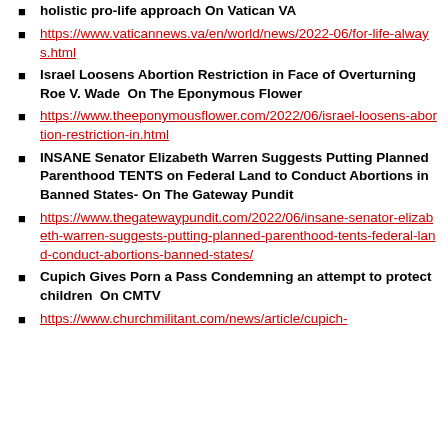holistic pro-life approach On Vatican VA
https://www.vaticannews.va/en/world/news/2022-06/for-life-always.html
Israel Loosens Abortion Restriction in Face of Overturning Roe V. Wade  On The Eponymous Flower
https://www.theeponymousflower.com/2022/06/israel-loosens-abortion-restriction-in.html
INSANE Senator Elizabeth Warren Suggests Putting Planned Parenthood TENTS on Federal Land to Conduct Abortions in Banned States- On The Gateway Pundit
https://www.thegatewaypundit.com/2022/06/insane-senator-elizabeth-warren-suggests-putting-planned-parenthood-tents-federal-land-conduct-abortions-banned-states/
Cupich Gives Porn a Pass Condemning an attempt to protect children  On CMTV
https://www.churchmilitant.com/news/article/cupich-